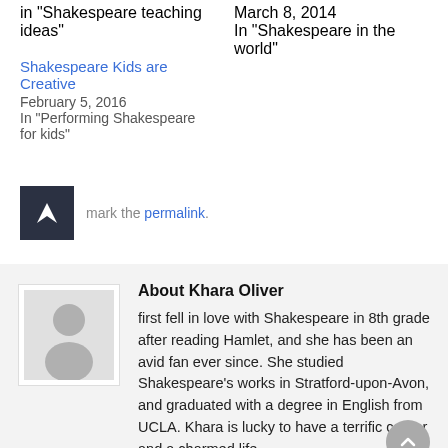in "Shakespeare teaching ideas"
March 8, 2014
In "Shakespeare in the world"
Shakespeare Kids are Creative
February 5, 2016
In "Performing Shakespeare for kids"
mark the permalink.
About Khara Oliver
first fell in love with Shakespeare in 8th grade after reading Hamlet, and she has been an avid fan ever since. She studied Shakespeare's works in Stratford-upon-Avon, and graduated with a degree in English from UCLA. Khara is lucky to have a terrific career and a charmed life...
[Figure (illustration): Gray silhouette placeholder avatar of a person]